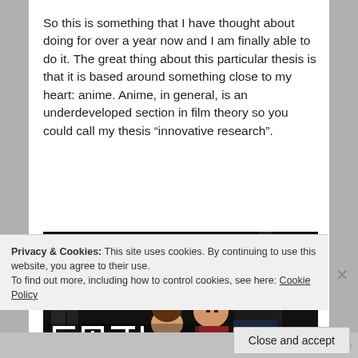So this is something that I have thought about doing for over a year now and I am finally able to do it. The great thing about this particular thesis is that it is based around something close to my heart: anime. Anime, in general, is an underdeveloped section in film theory so you could call my thesis “innovative research”.
[Figure (photo): Screenshot of Samurai Champloo anime title card with Japanese characters and logo text 'SAMURAI CHAMPLOO' showing anime characters in dark stylized art]
Privacy & Cookies: This site uses cookies. By continuing to use this website, you agree to their use.
To find out more, including how to control cookies, see here: Cookie Policy